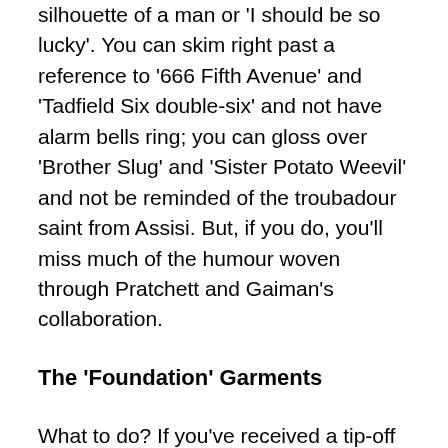silhouette of a man or 'I should be so lucky'. You can skim right past a reference to '666 Fifth Avenue' and 'Tadfield Six double-six' and not have alarm bells ring; you can gloss over 'Brother Slug' and 'Sister Potato Weevil' and not be reminded of the troubadour saint from Assisi. But, if you do, you'll miss much of the humour woven through Pratchett and Gaiman's collaboration.
The 'Foundation' Garments
What to do? If you've received a tip-off from someone who has already read Good Omens, you will probably come to your reading of the book well prepared. If you haven't already seen The Omen, you will have found a basic plot outline and perhaps watched a few YouTube clips of pivotal scenes. You'll have reached for a Bible (in hard copy or in myriad places online) and worked out what's going on in the books of Genesis and Revelation. (Good